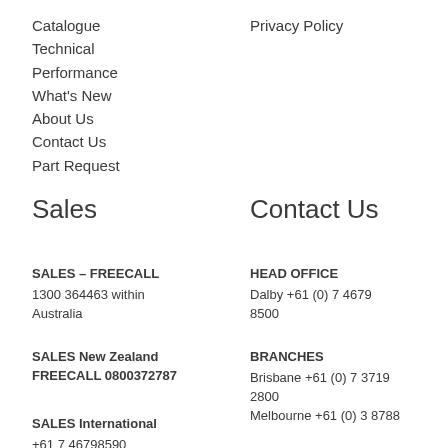Catalogue
Technical
Performance
What's New
About Us
Contact Us
Part Request
Privacy Policy
Sales
Contact Us
SALES – FREECALL
1300 364463 within Australia
HEAD OFFICE
Dalby +61 (0) 7 4679 8500
SALES New Zealand FREECALL 0800372787
BRANCHES
Brisbane +61 (0) 7 3719 2800
Melbourne +61 (0) 3 8788
SALES International
+61 7 46798590